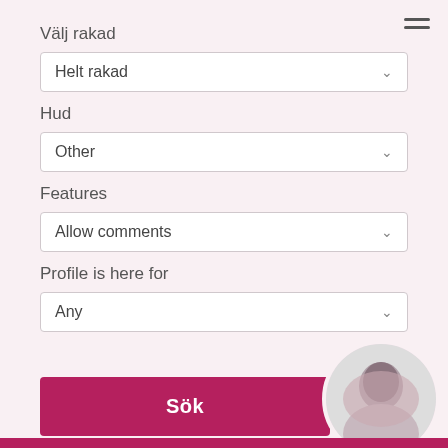Välj rakad
Helt rakad
Hud
Other
Features
Allow comments
Profile is here for
Any
Sök
[Figure (photo): Circular avatar photo of a dark-haired woman in the bottom right corner]